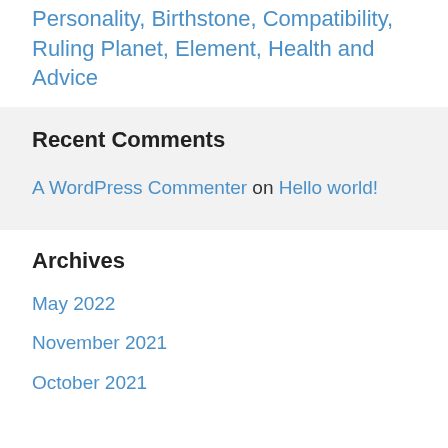Personality, Birthstone, Compatibility, Ruling Planet, Element, Health and Advice
Recent Comments
A WordPress Commenter on Hello world!
Archives
May 2022
November 2021
October 2021